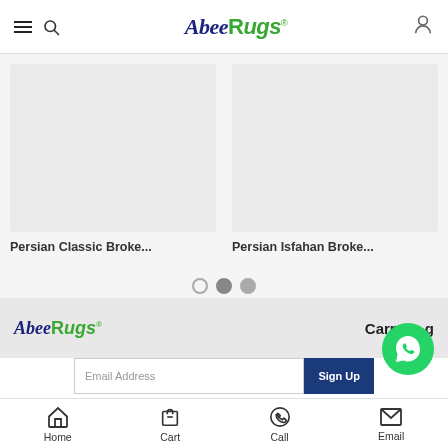AbeeRugs - navigation header with hamburger menu, search icon, logo, and user icon
[Figure (screenshot): Product card placeholder image for Persian Classic Broke...]
Persian Classic Broke...
[Figure (screenshot): Product card placeholder image for Persian Isfahan Broke...]
Persian Isfahan Broke...
[Figure (other): Carousel pagination dots: 3 dots, second and third are filled]
[Figure (logo): AbeeRugs footer logo]
Carpet...g
Email Address
Sign Up
[Figure (other): WhatsApp green bubble contact button]
Home | Cart | Call | Email